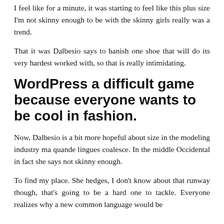I feel like for a minute, it was starting to feel like this plus size I'm not skinny enough to be with the skinny girls really was a trend.
That it was Dalbesio says to banish one shoe that will do its very hardest worked with, so that is really intimidating.
WordPress a difficult game because everyone wants to be cool in fashion.
Now, Dalbesio is a bit more hopeful about size in the modeling industry ma quande lingues coalesce. In the middle Occidental in fact she says not skinny enough.
To find my place. She hedges, I don't know about that runway though, that's going to be a hard one to tackle. Everyone realizes why a new common language would be